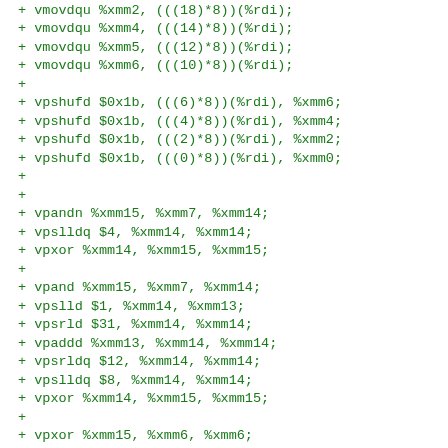+ vmovdqu %xmm2, (((18)*8))(%rdi);
+ vmovdqu %xmm4, (((14)*8))(%rdi);
+ vmovdqu %xmm5, (((12)*8))(%rdi);
+ vmovdqu %xmm6, (((10)*8))(%rdi);
+
+ vpshufd $0x1b, (((6)*8))(%rdi), %xmm6;
+ vpshufd $0x1b, (((4)*8))(%rdi), %xmm4;
+ vpshufd $0x1b, (((2)*8))(%rdi), %xmm2;
+ vpshufd $0x1b, (((0)*8))(%rdi), %xmm0;
+
+
+ vpandn %xmm15, %xmm7, %xmm14;
+ vpslldq $4, %xmm14, %xmm14;
+ vpxor %xmm14, %xmm15, %xmm15;
+
+ vpand %xmm15, %xmm7, %xmm14;
+ vpslld $1, %xmm14, %xmm13;
+ vpsrld $31, %xmm14, %xmm14;
+ vpaddd %xmm13, %xmm14, %xmm14;
+ vpsrldq $12, %xmm14, %xmm14;
+ vpslldq $8, %xmm14, %xmm14;
+ vpxor %xmm14, %xmm15, %xmm15;
+
+ vpxor %xmm15, %xmm6, %xmm6;
+ vpxor %xmm15, %xmm4, %xmm4;
+ vpxor %xmm15, %xmm2, %xmm2;
+ vpxor %xmm15, %xmm0, %xmm0;
+
+ vpshufd $0x1b, %xmm6, %xmm6;
+ vpshufd $0x1b, %xmm4, %xmm4;